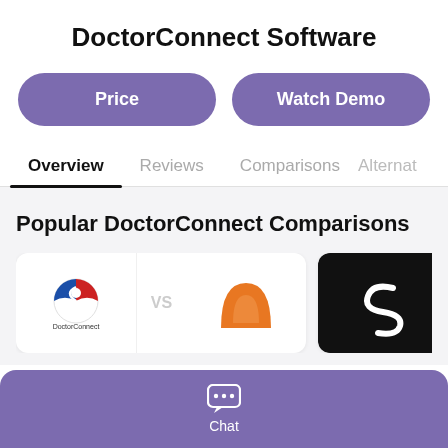DoctorConnect Software
Price
Watch Demo
Overview
Reviews
Comparisons
Alternat
Popular DoctorConnect Comparisons
[Figure (screenshot): Comparison card showing DoctorConnect logo vs an orange logo, and a second card with a black background logo with swirly design]
Chat